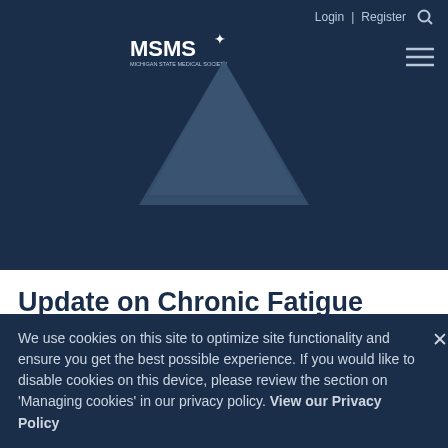Login | Register
[Figure (logo): MSMS logo — Michigan State Medical Society with decorative triangle graphic]
Update on Chronic Fatigue Syndrome Part 2: Uniting Compassion, Attention and Innovation to treat ME/CFS
Webinar
Description:
This ME/CFS CME module is designed to help medical
We use cookies on this site to optimize site functionality and ensure you get the best possible experience. If you would like to disable cookies on this device, please review the section on 'Managing cookies' in our privacy policy. View our Privacy Policy